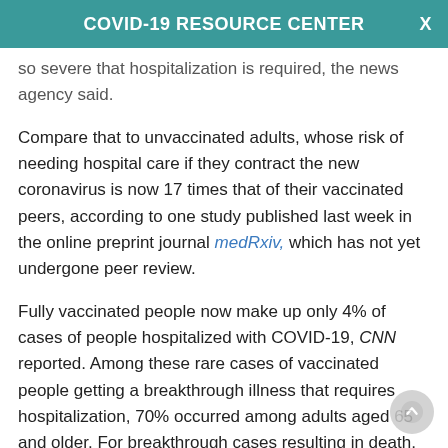COVID-19 RESOURCE CENTER
so severe that hospitalization is required, the news agency said.
Compare that to unvaccinated adults, whose risk of needing hospital care if they contract the new coronavirus is now 17 times that of their vaccinated peers, according to one study published last week in the online preprint journal medRxiv, which has not yet undergone peer review.
Fully vaccinated people now make up only 4% of cases of people hospitalized with COVID-19, CNN reported. Among these rare cases of vaccinated people getting a breakthrough illness that requires hospitalization, 70% occurred among adults aged 65 and older. For breakthrough cases resulting in death, 87% of patients were 65 or older.